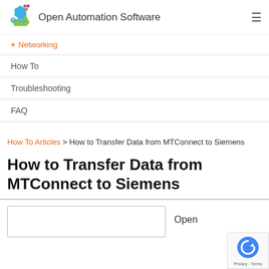Open Automation Software
+ Networking
How To
Troubleshooting
FAQ
How To Articles > How to Transfer Data from MTConnect to Siemens
How to Transfer Data from MTConnect to Siemens
Open